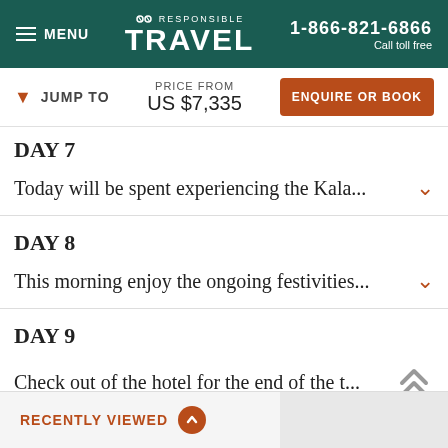MENU | RESPONSIBLE TRAVEL | 1-866-821-6866 Call toll free
JUMP TO | PRICE FROM US $7,335 | ENQUIRE OR BOOK
DAY 7
Today will be spent experiencing the Kala...
DAY 8
This morning enjoy the ongoing festivities...
DAY 9
Check out of the hotel for the end of the t...
RECENTLY VIEWED